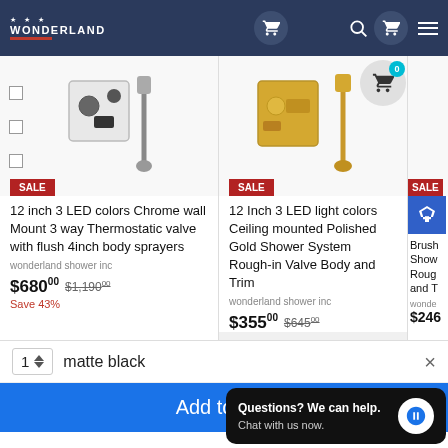[Figure (screenshot): Wonderland e-commerce website screenshot showing navigation bar with logo, cart icons, search and hamburger menu]
[Figure (photo): Product 1: Chrome thermostatic shower valve with handheld sprayer, SALE badge]
12 inch 3 LED colors Chrome wall Mount 3 way Thermostatic valve with flush 4inch body sprayers
wonderland shower inc
$680.00 $1,190.00 Save 43%
[Figure (photo): Product 2: Polished Gold shower system with handheld, SALE badge]
12 Inch 3 LED light colors Ceiling mounted Polished Gold Shower System Rough-in Valve Body and Trim
wonderland shower inc
$355.00 $645.00
matte black
Add to ca
Questions? We can help. Chat with us now.